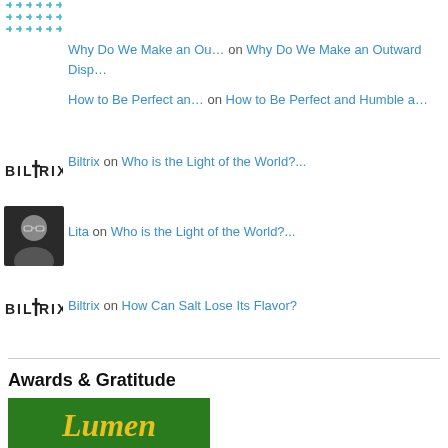[Figure (logo): Teal decorative snowflake/cross pattern logo in top left corner]
Why Do We Make an Ou… on Why Do We Make an Outward Disp…
How to Be Perfect an… on How to Be Perfect and Humble a…
Biltrix on Who is the Light of the World?...
Lita on Who is the Light of the World?...
Biltrix on How Can Salt Lose Its Flavor?
Awards & Gratitude
[Figure (photo): Green background image with yellow gothic/old-English style text reading 'Lumen']